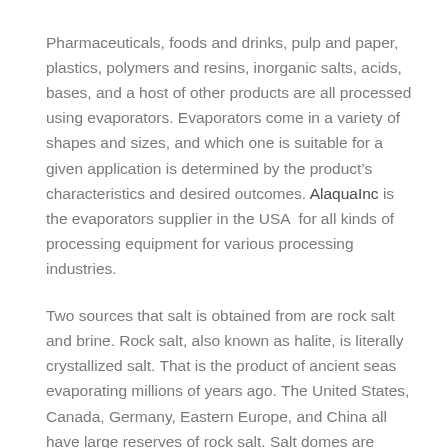Pharmaceuticals, foods and drinks, pulp and paper, plastics, polymers and resins, inorganic salts, acids, bases, and a host of other products are all processed using evaporators. Evaporators come in a variety of shapes and sizes, and which one is suitable for a given application is determined by the product's characteristics and desired outcomes. AlaquaInc is the evaporators supplier in the USA for all kinds of processing equipment for various processing industries.
Two sources that salt is obtained from are rock salt and brine. Rock salt, also known as halite, is literally crystallized salt. That is the product of ancient seas evaporating millions of years ago. The United States, Canada, Germany, Eastern Europe, and China all have large reserves of rock salt. Salt domes are formed when pressure from deep inside the Earth pushes vast amounts of rock salt to the